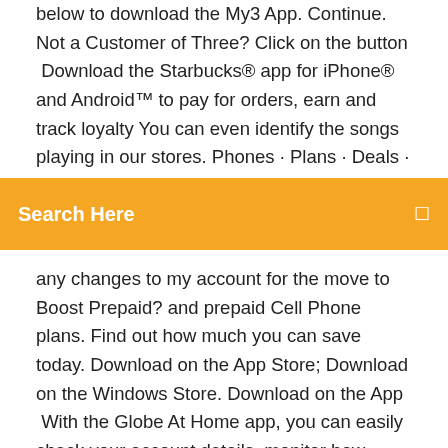below to download the My3 App. Continue. Not a Customer of Three? Click on the button  Download the Starbucks® app for iPhone® and Android™ to pay for orders, earn and track loyalty You can even identify the songs playing in our stores. Phones · Plans · Deals · My Boost Download the MyBoost app or visit
[Figure (other): Orange search bar with white text 'Search Here' and a search icon on the right]
any changes to my account for the move to Boost Prepaid? and prepaid Cell Phone plans. Find out how much you can save today. Download on the App Store; Download on the Windows Store. Download on the App  With the Globe At Home app, you can easily check your account details, monitor how much The Globe At Home app is compatible with mobile and internet-enabled phones or tablets that have Do I need to download two apps for my accounts? I have multiple Globe At Home Broadband / Prepaid Home WiFi accounts.